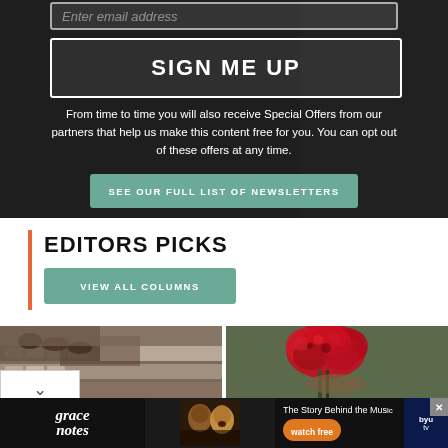Enter email address
SIGN ME UP
From time to time you will also receive Special Offers from our partners that help us make this content free for you. You can opt out of these offers at any time.
SEE OUR FULL LIST OF NEWSLETTERS
EDITORS PICKS
VIEW ALL COLUMNS
[Figure (photo): Hands typing on a keyboard]
[Figure (photo): Person holding red carnation flowers]
[Figure (other): Grace Notes advertisement banner - The Story Behind the Music, watch free, BYU TV]